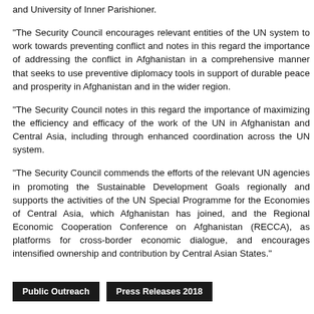and University of Inner Parishioner.
“The Security Council encourages relevant entities of the UN system to work towards preventing conflict and notes in this regard the importance of addressing the conflict in Afghanistan in a comprehensive manner that seeks to use preventive diplomacy tools in support of durable peace and prosperity in Afghanistan and in the wider region.
“The Security Council notes in this regard the importance of maximizing the efficiency and efficacy of the work of the UN in Afghanistan and Central Asia, including through enhanced coordination across the UN system.
“The Security Council commends the efforts of the relevant UN agencies in promoting the Sustainable Development Goals regionally and supports the activities of the UN Special Programme for the Economies of Central Asia, which Afghanistan has joined, and the Regional Economic Cooperation Conference on Afghanistan (RECCA), as platforms for cross-border economic dialogue, and encourages intensified ownership and contribution by Central Asian States.”
Public Outreach   Press Releases 2018